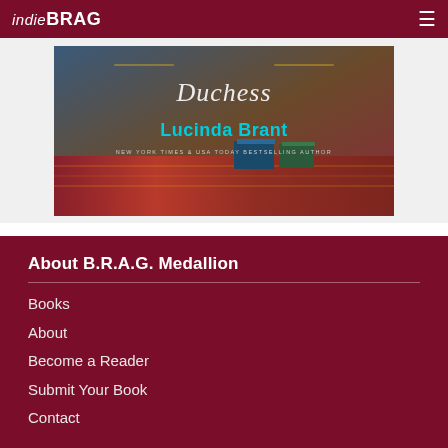indieBRAG
[Figure (illustration): Book cover showing 'Duchess' by Lucinda Brant, New York Times & USA Today Bestselling Author, with decorative script title and colorful background featuring a rug and books]
About B.R.A.G. Medallion
Books
About
Become a Reader
Submit Your Book
Contact